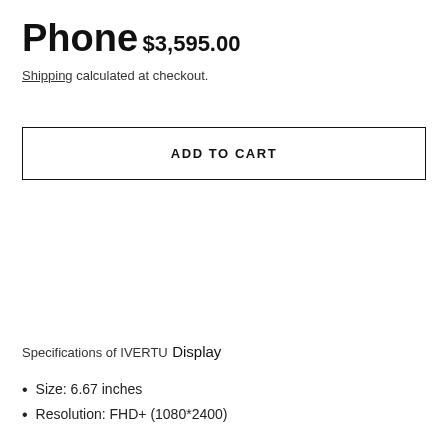Phone
$3,595.00
Shipping calculated at checkout.
ADD TO CART
Specifications of IVERTU
Display
Size: 6.67 inches
Resolution: FHD+ (1080*2400)